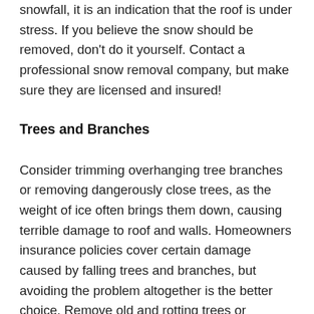snowfall, it is an indication that the roof is under stress. If you believe the snow should be removed, don't do it yourself. Contact a professional snow removal company, but make sure they are licensed and insured!
Trees and Branches
Consider trimming overhanging tree branches or removing dangerously close trees, as the weight of ice often brings them down, causing terrible damage to roof and walls. Homeowners insurance policies cover certain damage caused by falling trees and branches, but avoiding the problem altogether is the better choice. Remove old and rotting trees or branches, as many insurance